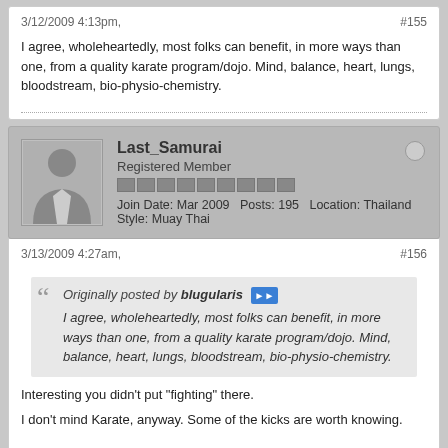3/12/2009 4:13pm,    #155
I agree, wholeheartedly, most folks can benefit, in more ways than one, from a quality karate program/dojo. Mind, balance, heart, lungs, bloodstream, bio-physio-chemistry.
Last_Samurai
Registered Member
Join Date: Mar 2009  Posts: 195  Location: Thailand
Style: Muay Thai
3/13/2009 4:27am,    #156
Originally posted by blugularis
I agree, wholeheartedly, most folks can benefit, in more ways than one, from a quality karate program/dojo. Mind, balance, heart, lungs, bloodstream, bio-physio-chemistry.
Interesting you didn't put "fighting" there.
I don't mind Karate, anyway. Some of the kicks are worth knowing.